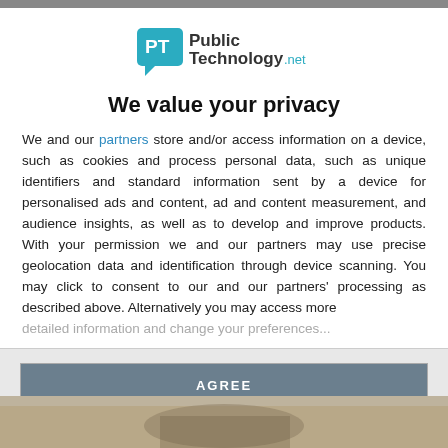[Figure (logo): PublicTechnology.net logo with PT speech bubble icon in teal/blue]
We value your privacy
We and our partners store and/or access information on a device, such as cookies and process personal data, such as unique identifiers and standard information sent by a device for personalised ads and content, ad and content measurement, and audience insights, as well as to develop and improve products. With your permission we and our partners may use precise geolocation data and identification through device scanning. You may click to consent to our and our partners' processing as described above. Alternatively you may access more detailed information and change your preferences...
AGREE
MORE OPTIONS